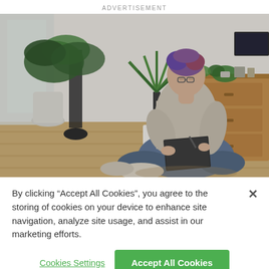ADVERTISEMENT
[Figure (photo): A person with colorful hair sitting cross-legged on a wooden floor, writing in a notebook, surrounded by houseplants and a wooden dresser with a TV in the background.]
By clicking “Accept All Cookies”, you agree to the storing of cookies on your device to enhance site navigation, analyze site usage, and assist in our marketing efforts.
Cookies Settings
Accept All Cookies